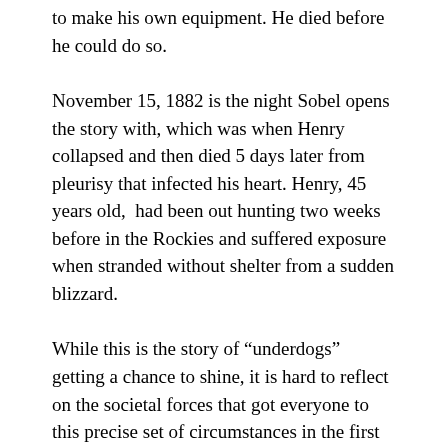to make his own equipment. He died before he could do so.
November 15, 1882 is the night Sobel opens the story with, which was when Henry collapsed and then died 5 days later from pleurisy that infected his heart. Henry, 45 years old,  had been out hunting two weeks before in the Rockies and suffered exposure when stranded without shelter from a sudden blizzard.
While this is the story of “underdogs” getting a chance to shine, it is hard to reflect on the societal forces that got everyone to this precise set of circumstances in the first place. In 1882 women couldn’t vote, and couldn’t do much of anything beyond wives and mothers. However, the sister schools of the Ivy League had been founded and [white] women were getting higher education at a